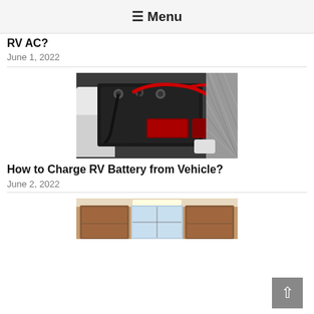≡ Menu
RV AC?
June 1, 2022
[Figure (photo): RV battery compartment showing batteries with red and black wiring connections inside a white plastic tray]
How to Charge RV Battery from Vehicle?
June 2, 2022
[Figure (photo): RV interior showing wooden cabinets and interior furnishings, partially visible at bottom of page]